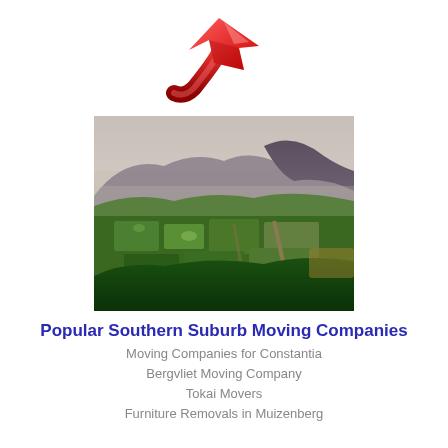[Figure (illustration): Red 3D upward-pointing arrow icon]
[Figure (photo): Aerial landscape photo showing green farmlands, vineyards and mountains in the background, likely Southern Suburbs of Cape Town, South Africa]
Popular Southern Suburb Moving Companies
Moving Companies for Constantia
Bergvliet Moving Company
Tokai Movers
Furniture Removals in Muizenberg